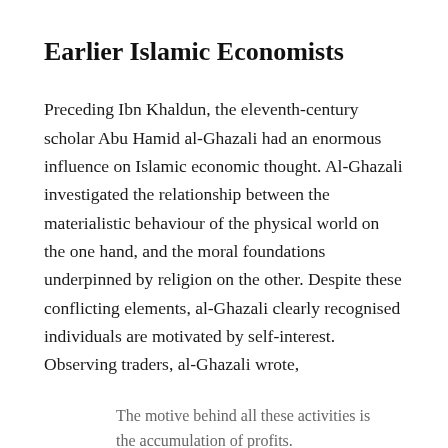Earlier Islamic Economists
Preceding Ibn Khaldun, the eleventh-century scholar Abu Hamid al-Ghazali had an enormous influence on Islamic economic thought. Al-Ghazali investigated the relationship between the materialistic behaviour of the physical world on the one hand, and the moral foundations underpinned by religion on the other. Despite these conflicting elements, al-Ghazali clearly recognised individuals are motivated by self-interest. Observing traders, al-Ghazali wrote,
The motive behind all these activities is the accumulation of profits.